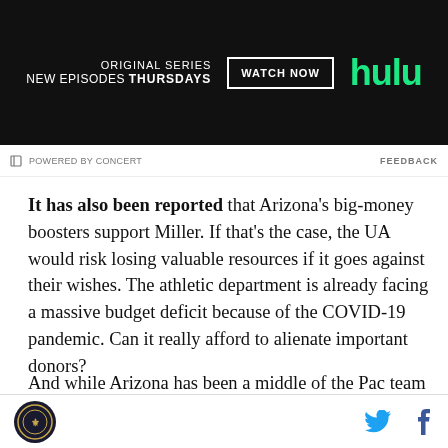[Figure (other): Hulu advertisement banner: 'ORIGINAL SERIES NEW EPISODES THURSDAYS' with WATCH NOW button and Hulu logo in green on dark background]
POWERED BY CONCERT   FEEDBACK
It has also been reported that Arizona's big-money boosters support Miller. If that's the case, the UA would risk losing valuable resources if it goes against their wishes. The athletic department is already facing a massive budget deficit because of the COVID-19 pandemic. Can it really afford to alienate important donors?
And while Arizona has been a middle of the Pac team lately, it has a lot of promising young players and, for
[Figure (logo): Site footer with circular logo on left and Twitter and Facebook social icons on right]